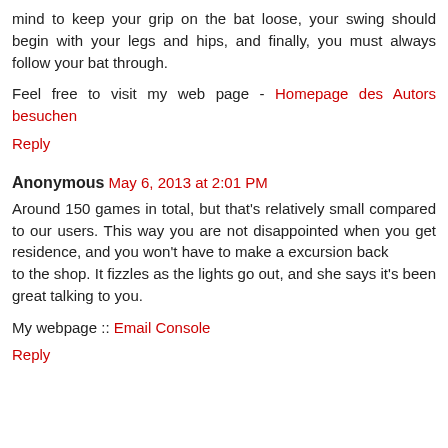mind to keep your grip on the bat loose, your swing should begin with your legs and hips, and finally, you must always follow your bat through.
Feel free to visit my web page - Homepage des Autors besuchen
Reply
Anonymous May 6, 2013 at 2:01 PM
Around 150 games in total, but that's relatively small compared to our users. This way you are not disappointed when you get residence, and you won't have to make a excursion back to the shop. It fizzles as the lights go out, and she says it's been great talking to you.
My webpage :: Email Console
Reply